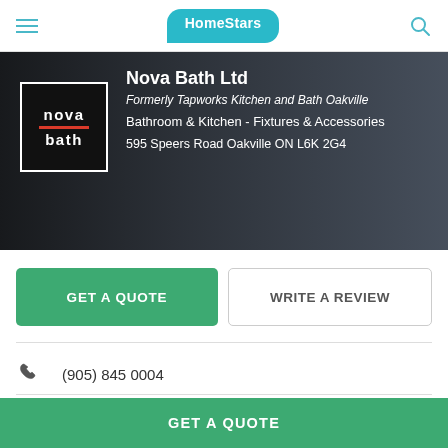HomeStars
[Figure (screenshot): Nova Bath Ltd hero banner with logo on dark bathroom background. Logo shows 'nova bath' text with red underline. Business info overlaid on right.]
Nova Bath Ltd
Formerly Tapworks Kitchen and Bath Oakville
Bathroom & Kitchen - Fixtures & Accessories
595 Speers Road Oakville ON L6K 2G4
GET A QUOTE
WRITE A REVIEW
(905) 845 0004
Website
GET A QUOTE